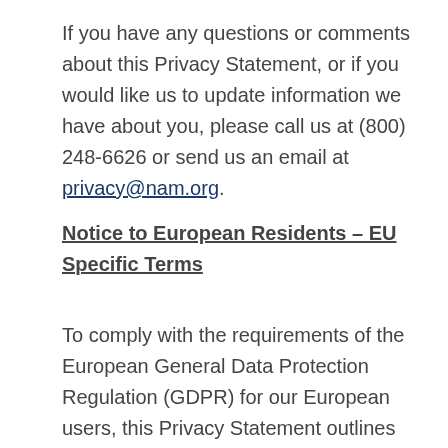If you have any questions or comments about this Privacy Statement, or if you would like us to update information we have about you, please call us at (800) 248-6626 or send us an email at privacy@nam.org.
Notice to European Residents – EU Specific Terms
To comply with the requirements of the European General Data Protection Regulation (GDPR) for our European users, this Privacy Statement outlines the legal basis on which